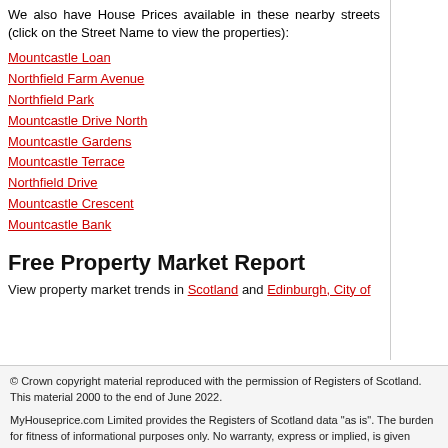We also have House Prices available in these nearby streets (click on the Street Name to view the properties):
Mountcastle Loan
Northfield Farm Avenue
Northfield Park
Mountcastle Drive North
Mountcastle Gardens
Mountcastle Terrace
Northfield Drive
Mountcastle Crescent
Mountcastle Bank
Free Property Market Report
View property market trends in Scotland and Edinburgh, City of
© Crown copyright material reproduced with the permission of Registers of Scotland. This material 2000 to the end of June 2022.
MyHouseprice.com Limited provides the Registers of Scotland data "as is". The burden for fitness of informational purposes only. No warranty, express or implied, is given relating to the accuracy of the Limited does not accept any liability for error or omission.
Registers of Scotland allows MyHousePrice.com Limited to reproduce in any format or medium free MyHousePrice.com Limited but only for research, private study or for internal circulation within an o used in any misleading context. The material must be acknowledged as Crown copyright.
This data must not be used for commercial purposes, nor copied, distributed, sold or published in